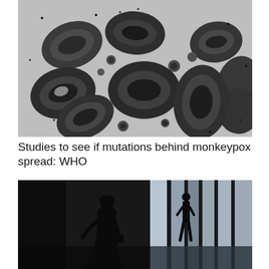[Figure (photo): Electron microscope image showing multiple monkeypox virus particles, oval and round shaped, in grayscale/black and white]
Studies to see if mutations behind monkeypox spread: WHO
[Figure (photo): Black and white photograph of two silhouetted figures walking through a corridor with bright vertical light panels in the background]